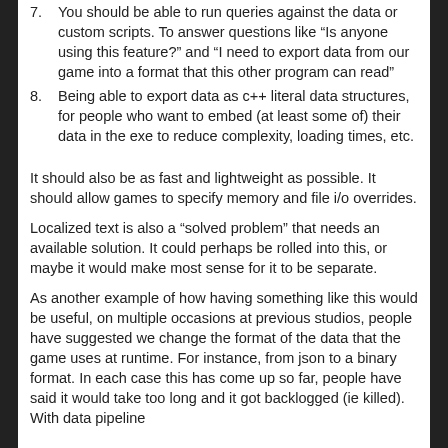7. You should be able to run queries against the data or custom scripts. To answer questions like “Is anyone using this feature?” and “I need to export data from our game into a format that this other program can read”
8. Being able to export data as c++ literal data structures, for people who want to embed (at least some of) their data in the exe to reduce complexity, loading times, etc.
It should also be as fast and lightweight as possible. It should allow games to specify memory and file i/o overrides.
Localized text is also a “solved problem” that needs an available solution. It could perhaps be rolled into this, or maybe it would make most sense for it to be separate.
As another example of how having something like this would be useful, on multiple occasions at previous studios, people have suggested we change the format of the data that the game uses at runtime. For instance, from json to a binary format. In each case this has come up so far, people have said it would take too long and it got backlogged (ie killed). With data pipeline